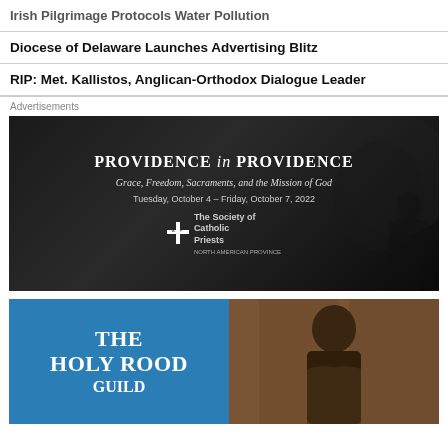Irish Pilgrimage Protocols Water Pollution
Diocese of Delaware Launches Advertising Blitz
RIP: Met. Kallistos, Anglican-Orthodox Dialogue Leader
Advertisements
[Figure (photo): Advertisement banner for 'Providence in Providence: Grace, Freedom, Sacraments, and the Mission of God' conference. Tuesday, October 4 - Friday, October 7, 2022. Society of Catholic Priests, North American Province. Dark background with tree and person silhouette.]
[Figure (photo): Advertisement banner for 'The Holy Rood Guild' book, with blue left panel showing title text and right panel showing a person from behind.]